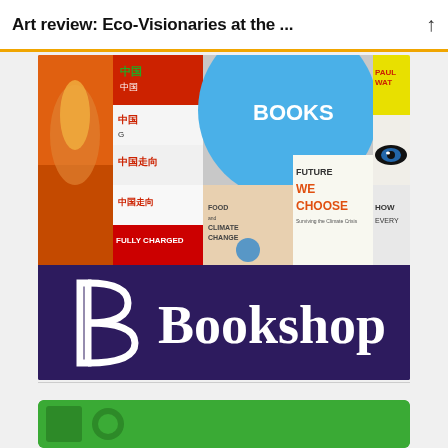Art review: Eco-Visionaries at the ...
[Figure (illustration): A collage of book covers related to ecology and climate change, displayed in a grid with titles including 'BOOKS', 'FOOD AND CLIMATE CHANGE', 'FUTURE WE CHOOSE Surviving the Climate Crisis', 'FULLY CHARGED', and others with Chinese characters. Below the collage is the Bookshop logo on a dark purple background.]
[Figure (other): A green banner at the bottom of the page, partially visible.]